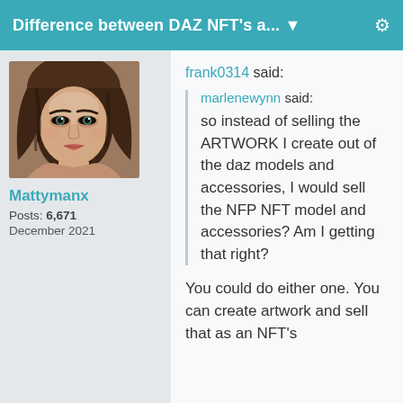Difference between DAZ NFT's a... ▼
[Figure (photo): Avatar/profile photo of an illustrated 3D rendered young woman with dark hair and makeup.]
Mattymanx
Posts: 6,671
December 2021
frank0314 said:
marlenewynn said:
so instead of selling the ARTWORK I create out of the daz models and accessories, I would sell the NFP NFT model and accessories?  Am I getting that right?
You could do either one. You can create artwork and sell that as an NFT's